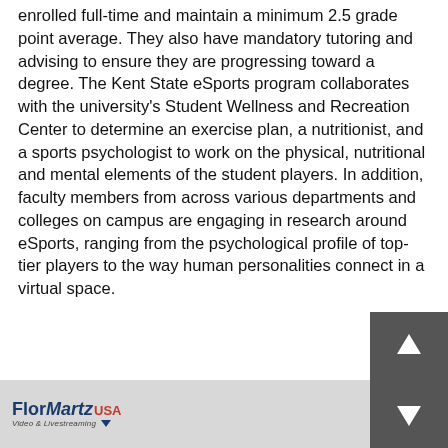enrolled full-time and maintain a minimum 2.5 grade point average. They also have mandatory tutoring and advising to ensure they are progressing toward a degree. The Kent State eSports program collaborates with the university's Student Wellness and Recreation Center to determine an exercise plan, a nutritionist, and a sports psychologist to work on the physical, nutritional and mental elements of the student players. In addition, faculty members from across various departments and colleges on campus are engaging in research around eSports, ranging from the psychological profile of top-tier players to the way human personalities connect in a virtual space.
FlorMartz USA Video & Livestreaming